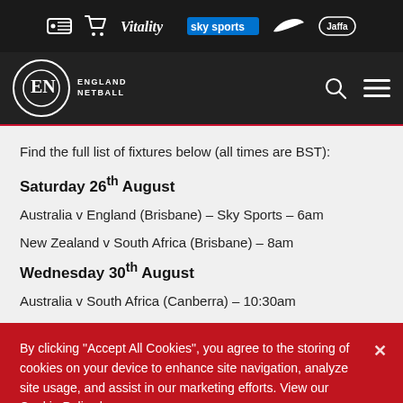[Figure (logo): Sponsor bar with ticket icon, shopping cart icon, Vitality logo, Sky Sports logo, Nike swoosh logo, Jaffa logo on black background]
[Figure (logo): England Netball navigation bar with circular EN logo on left, search and hamburger menu icons on right, dark background]
Find the full list of fixtures below (all times are BST):
Saturday 26th August
Australia v England (Brisbane) – Sky Sports – 6am
New Zealand v South Africa (Brisbane) – 8am
Wednesday 30th August
Australia v South Africa (Canberra) – 10:30am
By clicking "Accept All Cookies", you agree to the storing of cookies on your device to enhance site navigation, analyze site usage, and assist in our marketing efforts. View our Cookie Policy here - Cookie Policy